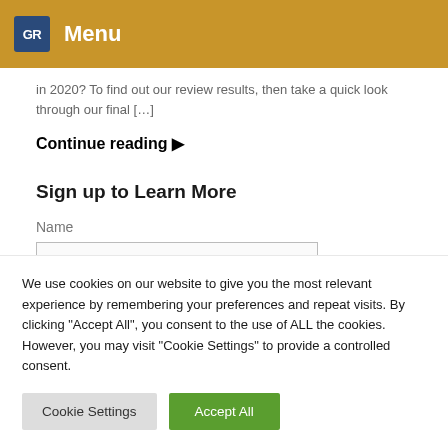GR Menu
in 2020? To find out our review results, then take a quick look through our final […]
Continue reading ▶
Sign up to Learn More
Name
We use cookies on our website to give you the most relevant experience by remembering your preferences and repeat visits. By clicking "Accept All", you consent to the use of ALL the cookies. However, you may visit "Cookie Settings" to provide a controlled consent.